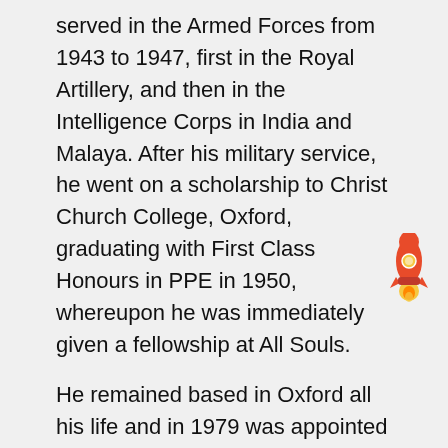served in the Armed Forces from 1943 to 1947, first in the Royal Artillery, and then in the Intelligence Corps in India and Malaya. After his military service, he went on a scholarship to Christ Church College, Oxford, graduating with First Class Honours in PPE in 1950, whereupon he was immediately given a fellowship at All Souls.
He remained based in Oxford all his life and in 1979 was appointed Wykeham Professor of Logic, a chair which he held until his retirement in 1992. Concurrently with these appointments, however, he frequently lectured abroad, particularly in America, where he was variously a visiting professor at Stanford, Minnesota and Princeton. In 1976 he was William James Lecturer in Philosophy at Harvard.
Although Dummett was brought up an Anglican, by the age of 13 he regarded himself as an atheist. In 1944, however, he converted to Roman Catholicism. In the early part of his career he regarded himself as a “Wittgensteinian” but he did not accept the view, expressed by some admirers of Wittgenstein, that
[Figure (illustration): Rocket emoji illustration in orange and yellow colors]